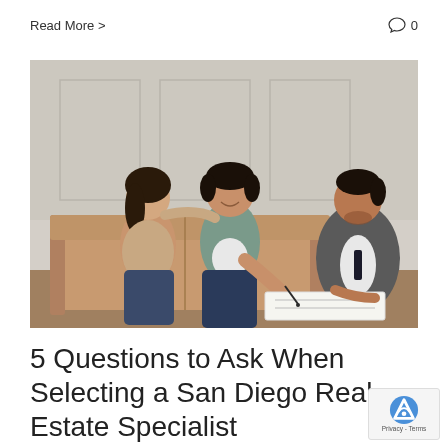Read More >
0
[Figure (photo): A couple sitting on a couch smiling while a real estate agent in a suit shows them a document to sign. The man has his arm around the woman and they are both looking at the papers.]
5 Questions to Ask When Selecting a San Diego Real Estate Specialist